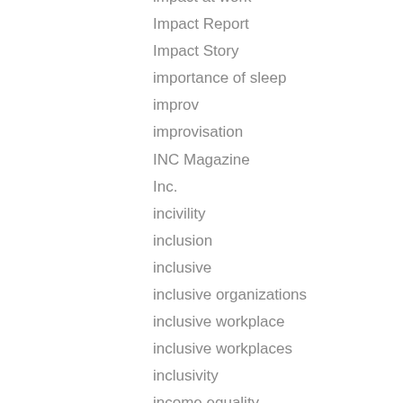impact at work
Impact Report
Impact Story
importance of sleep
improv
improvisation
INC Magazine
Inc.
incivility
inclusion
inclusive
inclusive organizations
inclusive workplace
inclusive workplaces
inclusivity
income equality
income inequality
incubator